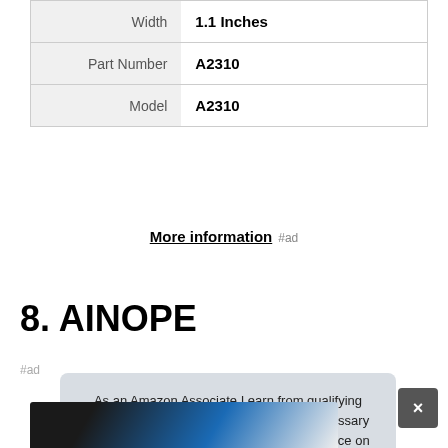| Width | 1.1 Inches |
| Part Number | A2310 |
| Model | A2310 |
More information #ad
8. AINOPE
#ad
As an Amazon Associate I earn from qualifying purchases. This website uses the only necessary cookies to ensure you get the best experience on our website. More information